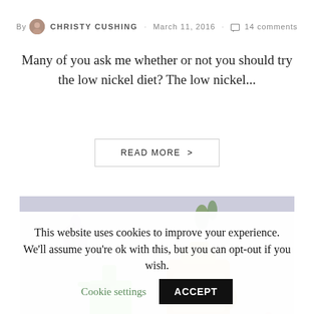By CHRISTY CUSHING · March 11, 2016 · 14 comments
Many of you ask me whether or not you should try the low nickel diet? The low nickel...
READ MORE >
[Figure (photo): Photo of a green spray bottle and a tan/amber detergent jug on a floral-patterned surface]
This website uses cookies to improve your experience. We'll assume you're ok with this, but you can opt-out if you wish. Cookie settings ACCEPT